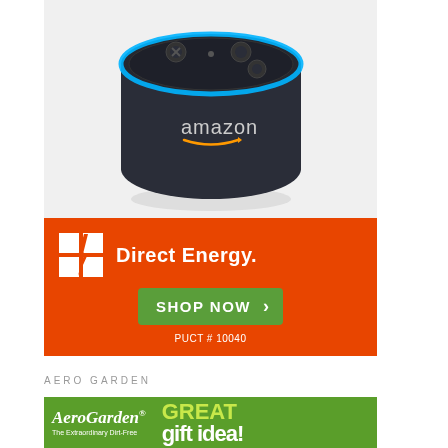[Figure (photo): Amazon Echo Dot smart speaker device, dark charcoal color with blue LED ring and Amazon logo, photographed on white background]
[Figure (infographic): Direct Energy advertisement banner on orange background with white logo icon and 'Direct Energy.' brand name, green 'SHOP NOW >' button, and 'PUCT #10040' text]
AERO GARDEN
[Figure (infographic): AeroGarden advertisement on green background showing 'AeroGarden' logo (italic), 'The Extraordinary Dirt-Free' tagline, and 'GREAT gift idea!' text]